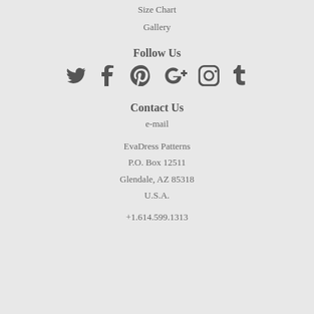Size Chart
Gallery
Follow Us
[Figure (infographic): Social media icons row: Twitter, Facebook, Pinterest, Google+, Instagram, Tumblr]
Contact Us
e-mail
EvaDress Patterns
P.O. Box 12511
Glendale, AZ 85318
U.S.A.
+1.614.599.1313